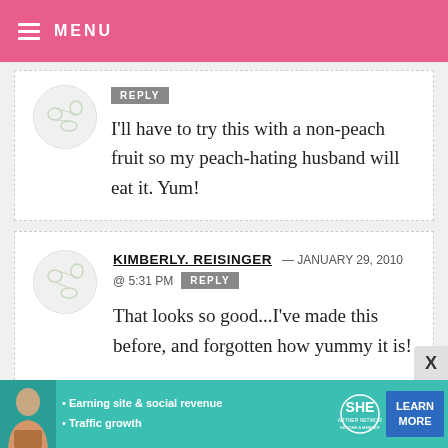MENU
REPLY
I'll have to try this with a non-peach fruit so my peach-hating husband will eat it. Yum!
KIMBERLY. REISINGER — JANUARY 29, 2010 @ 5:31 PM REPLY
That looks so good...I've made this before, and forgotten how yummy it is! I make a similar one, except I use 1 can
[Figure (infographic): Teal advertisement banner for SHE Partner Network with woman photo, bullet points about earning site & social revenue and traffic growth, SHE logo, and Learn More button]